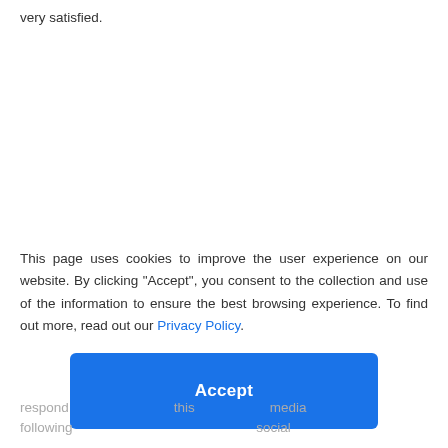very satisfied.
This page uses cookies to improve the user experience on our website. By clicking "Accept", you consent to the collection and use of the information to ensure the best browsing experience. To find out more, read out our Privacy Policy.
Accept
respond ... this ... media following ...